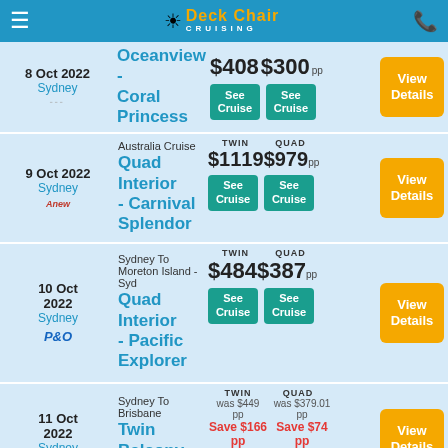Deck Chair Cruising
| Date | Cruise | Twin | Quad | Action |
| --- | --- | --- | --- | --- |
| 8 Oct 2022 Sydney | Oceanview - Coral Princess | $408 | $300 pp | View Details |
| 9 Oct 2022 Sydney | Australia Cruise Quad Interior - Carnival Splendor | $1119 TWIN | $979 QUAD pp | View Details |
| 10 Oct 2022 Sydney | Sydney To Moreton Island - Syd Quad Interior - Pacific Explorer | $484 TWIN | $387 QUAD pp | View Details |
| 11 Oct 2022 Sydney | Sydney To Brisbane Twin Balcony Coral | was $449 pp Save $166 pp $283 | was $379.01 pp Save $74 pp $305 pp | View Details |